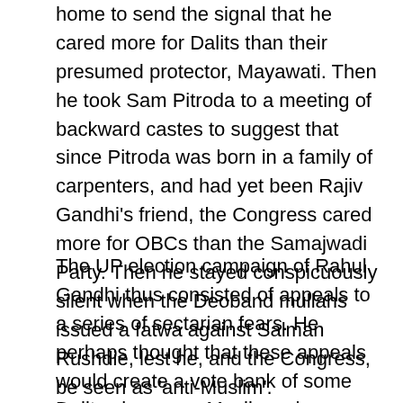home to send the signal that he cared more for Dalits than their presumed protector, Mayawati. Then he took Sam Pitroda to a meeting of backward castes to suggest that since Pitroda was born in a family of carpenters, and had yet been Rajiv Gandhi's friend, the Congress cared more for OBCs than the Samajwadi Party. Then he stayed conspicuously silent when the Deoband mullahs issued a fatwa against Salman Rushdie, lest he, and the Congress, be seen as 'anti-Muslim'.
The UP election campaign of Rahul Gandhi thus consisted of appeals to a series of sectarian fears. He perhaps thought that these appeals would create a vote bank of some Dalits plus some Muslims plus some backwards, with some Brahmins and some Banias voting Congress out of sentimental attachment